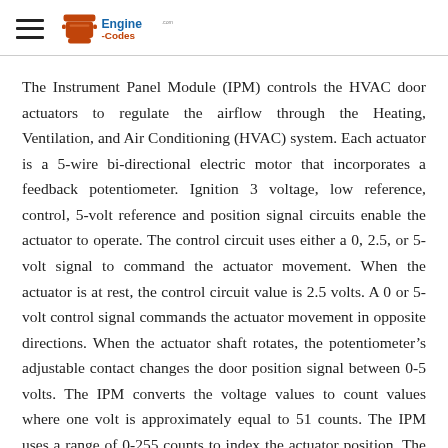Engine-Codes
The Instrument Panel Module (IPM) controls the HVAC door actuators to regulate the airflow through the Heating, Ventilation, and Air Conditioning (HVAC) system. Each actuator is a 5-wire bi-directional electric motor that incorporates a feedback potentiometer. Ignition 3 voltage, low reference, control, 5-volt reference and position signal circuits enable the actuator to operate. The control circuit uses either a 0, 2.5, or 5-volt signal to command the actuator movement. When the actuator is at rest, the control circuit value is 2.5 volts. A 0 or 5-volt control signal commands the actuator movement in opposite directions. When the actuator shaft rotates, the potentiometer’s adjustable contact changes the door position signal between 0-5 volts. The IPM converts the voltage values to count values where one volt is approximately equal to 51 counts. The IPM uses a range of 0-255 counts to index the actuator position. The door position